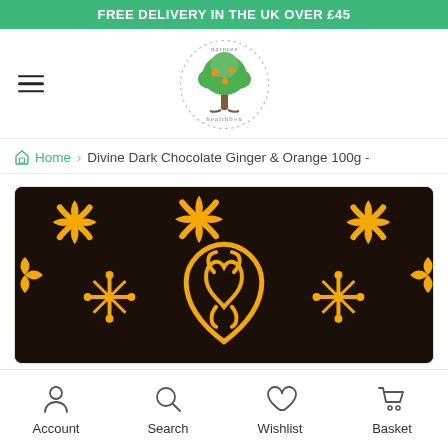FREE DELIVERY IN THE UK OVER £45
[Figure (logo): Natures Healthbox logo — a stylized tree with green leaves and orange fruit inside a dotted circle, with text 'natures healthbox' around it]
Home › Divine Dark Chocolate Ginger & Orange 100g -
[Figure (photo): Close-up of Divine Dark Chocolate bar packaging with black background and golden/orange Adinkra-style decorative patterns]
Account   Search   Wishlist   Basket